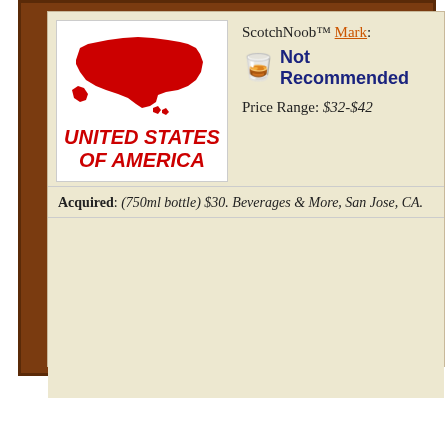[Figure (illustration): Red silhouette map of the United States of America with 'UNITED STATES OF AMERICA' text in bold red italic below it, on a white background]
ScotchNoob™ Mark:
Not Recommended
Price Range: $32-$42
Acquired: (750ml bottle) $30. Beverages & More, San Jose, CA.